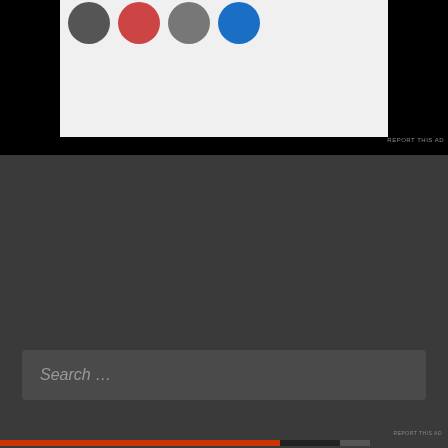[Figure (screenshot): Top portion of a webpage showing an advertisement with circular avatar images on a light gray background, overlaid on a black background.]
REPORT THIS AD
[Figure (screenshot): Search bar with placeholder text 'Search ...' on a dark gray background.]
Recent Posts
Privacy & Cookies: This site uses cookies. By continuing to use this website, you agree to their use.
To find out more, including how to control cookies, see here: Cookie Policy
Close and accept
REPORT THIS AD